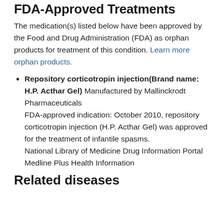FDA-Approved Treatments
The medication(s) listed below have been approved by the Food and Drug Administration (FDA) as orphan products for treatment of this condition. Learn more orphan products.
Repository corticotropin injection(Brand name: H.P. Acthar Gel) Manufactured by Mallinckrodt Pharmaceuticals FDA-approved indication: October 2010, repository corticotropin injection (H.P. Acthar Gel) was approved for the treatment of infantile spasms. National Library of Medicine Drug Information Portal Medline Plus Health Information
Related diseases